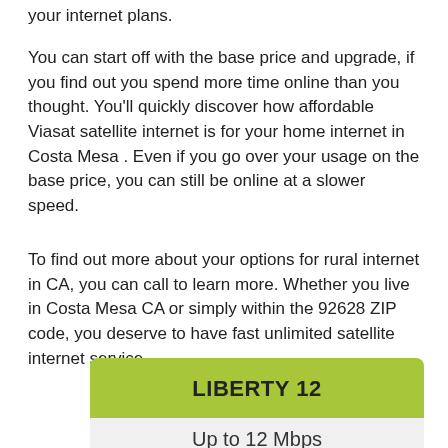your internet plans.
You can start off with the base price and upgrade, if you find out you spend more time online than you thought. You'll quickly discover how affordable Viasat satellite internet is for your home internet in Costa Mesa . Even if you go over your usage on the base price, you can still be online at a slower speed.
To find out more about your options for rural internet in CA, you can call to learn more. Whether you live in Costa Mesa CA or simply within the 92628 ZIP code, you deserve to have fast unlimited satellite internet service.
LIBERTY 12
Up to 12 Mbps